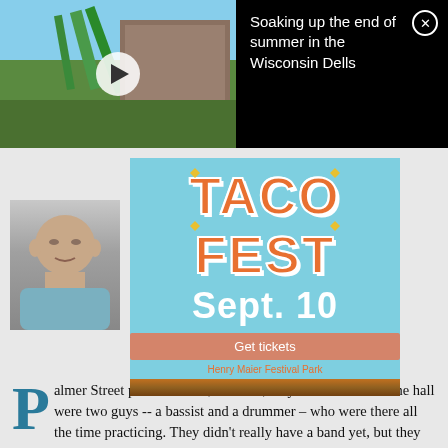[Figure (photo): Video thumbnail of Wisconsin Dells water park with play button overlay]
Soaking up the end of summer in the Wisconsin Dells
[Figure (photo): Headshot of author Bobby Tanzilo]
By Bobby Tanzilo
Senior Editor/Writer
Published Jan 29, 2011 at 8:13 AM
[Figure (infographic): Taco Fest advertisement banner - Taco Fest Sept. 10, Get tickets, Henry Maier Festival Park]
Palmer Street practice room, late '80s, maybe 1990. Across the hall were two guys -- a bassist and a drummer – who were there all the time practicing. They didn't really have a band yet, but they had a name: Little Blue Crunchy Things